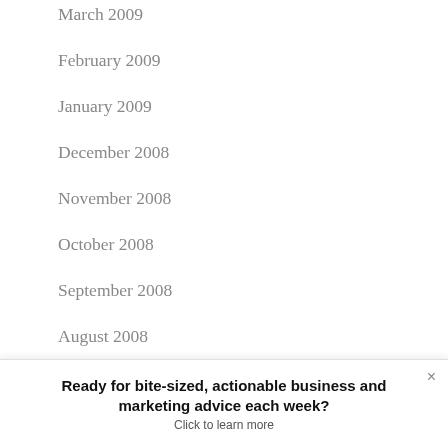March 2009
February 2009
January 2009
December 2008
November 2008
October 2008
September 2008
August 2008
July 2008
Ready for bite-sized, actionable business and marketing advice each week?
Click to learn more